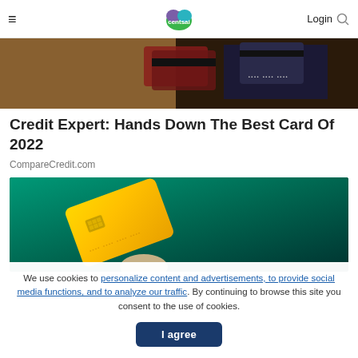CentSai — Login
[Figure (photo): Person holding credit cards, close-up of hands with cards fanned out]
Credit Expert: Hands Down The Best Card Of 2022
CompareCredit.com
[Figure (photo): Hand holding a gold/yellow credit card against a dark teal background]
We use cookies to personalize content and advertisements, to provide social media functions, and to analyze our traffic. By continuing to browse this site you consent to the use of cookies.
I agree